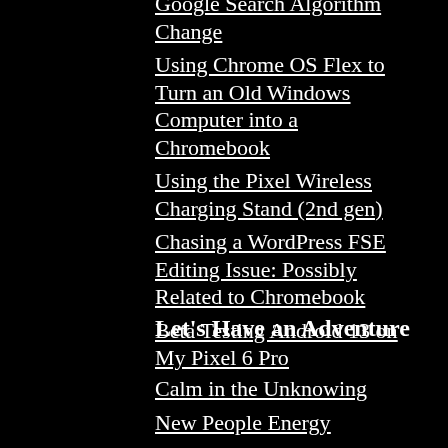Google Search Algorithm Change
Using Chrome OS Flex to Turn an Old Windows Computer into a Chromebook
Using the Pixel Wireless Charging Stand (2nd gen)
Chasing a WordPress FSE Editing Issue: Possibly Related to Chromebook
Beta Testing Android 13 on My Pixel 6 Pro
Let's Have an Adventure
Calm in the Unknowing
New People Energy
It's Quiet